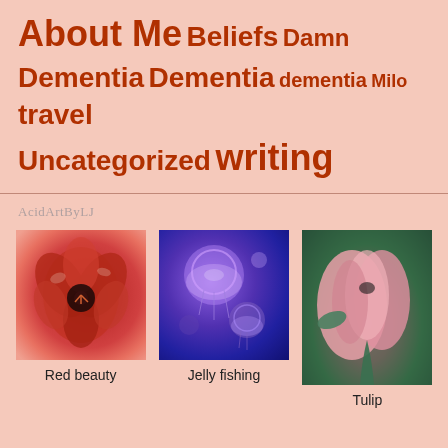About Me Beliefs Damn Dementia Dementia dementia Milo travel Uncategorized writing
AcidArtByLJ
[Figure (photo): Close-up photo of a red tulip flower from above]
Red beauty
[Figure (photo): Glowing blue and purple jellyfish on dark background]
Jelly fishing
[Figure (photo): Pink tulip bud with green leaves]
Tulip